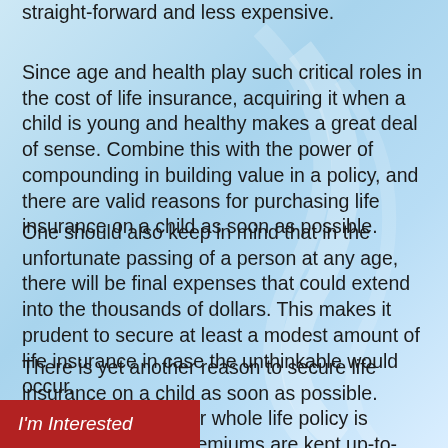straight-forward and less expensive.
Since age and health play such critical roles in the cost of life insurance, acquiring it when a child is young and healthy makes a great deal of sense. Combine this with the power of compounding in building value in a policy, and there are valid reasons for purchasing life insurance on a child as soon as possible.
One should also keep in mind that in the unfortunate passing of a person at any age, there will be final expenses that could extend into the thousands of dollars. This makes it prudent to secure at least a modest amount of life insurance in case the unthinkable would occur.
There is yet another reason to secure life insurance on a child as soon as possible. Once a permanent or whole life policy is issued, it remains premiums are kept up-to-date. pany cannot cancel coverage
I'm Interested